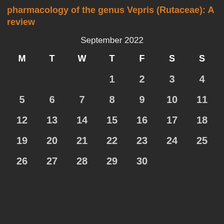pharmacology of the genus Vepris (Rutaceae): A review
| M | T | W | T | F | S | S |
| --- | --- | --- | --- | --- | --- | --- |
|  |  |  | 1 | 2 | 3 | 4 |
| 5 | 6 | 7 | 8 | 9 | 10 | 11 |
| 12 | 13 | 14 | 15 | 16 | 17 | 18 |
| 19 | 20 | 21 | 22 | 23 | 24 | 25 |
| 26 | 27 | 28 | 29 | 30 |  |  |